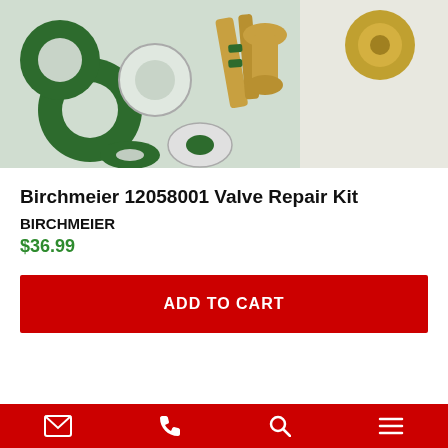[Figure (photo): Photo of Birchmeier 12058001 Valve Repair Kit showing green rubber washers, white washers, and brass valve components on a light background]
Birchmeier 12058001 Valve Repair Kit
BIRCHMEIER
$36.99
ADD TO CART